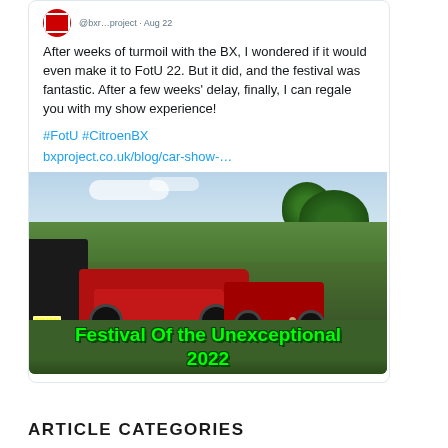After weeks of turmoil with the BX, I wondered if it would even make it to FotU 22. But it did, and the festival was fantastic. After a few weeks' delay, finally, I can regale you with my show experience!
#FotU #CitroenBX
bxproject.co.uk/blog/car-show-…
[Figure (photo): Photo of classic cars lined up on a grass field at Festival Of the Unexceptional 2022, with green text overlay reading 'Festival Of the Unexceptional 2022']
ARTICLE CATEGORIES